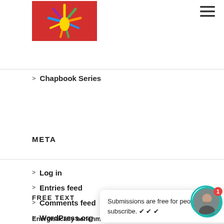[Figure (illustration): Website logo: colorful hand/sunburst design on red background]
[Figure (other): Hamburger menu icon (three horizontal lines) in top-right corner]
> Chapbook Series
META
> Log in
> Entries feed
> Comments feed
> WordPress.org
FREE TEXT
Submissions are free for people who subscribe. ✔ ✔ ✔
Energistically benchmark focused growth strategies via